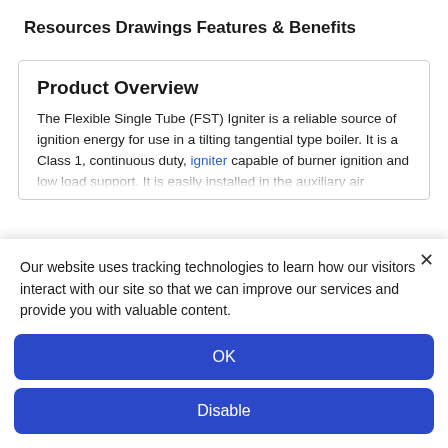Resources
Drawings
Features & Benefits
Product Overview
The Flexible Single Tube (FST) Igniter is a reliable source of ignition energy for use in a tilting tangential type boiler. It is a Class 1, continuous duty, igniter capable of burner ignition and low load support. It is easily installed in the auxiliary air nozzles between the main fuel elevations and is designed with flexible
Our website uses tracking technologies to learn how our visitors interact with our site so that we can improve our services and provide you with valuable content.